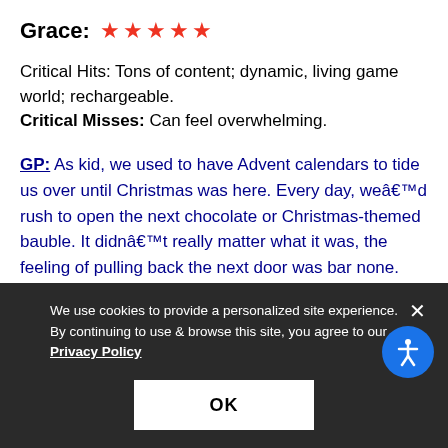Grace: ★★★★★
Critical Hits: Tons of content; dynamic, living game world; rechargeable.
Critical Misses: Can feel overwhelming.
GP: As kid, we used to have Advent calendars to tide us over until Christmas was here. Every day, weâ€™d rush to open the next chocolate or Christmas-themed bauble. It didnâ€™t really matter what it was, the feeling of pulling back the next door was bar none. Charterstone is the first legacy game Iâ€™ve played that has given me that same excitement.
We use cookies to provide a personalized site experience. By continuing to use & browse this site, you agree to our Privacy Policy
OK